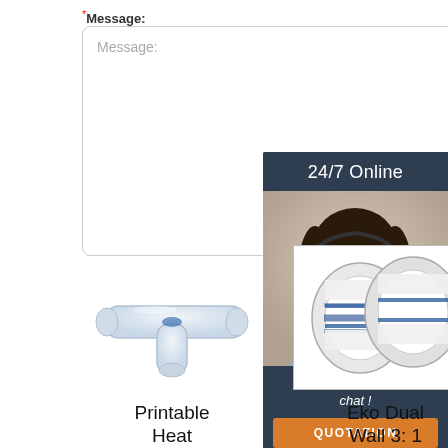* Message:
Message: (placeholder text in textarea)
Submit Now
[Figure (photo): 24/7 Online chat support widget with photo of woman wearing headset, 'Click here for free chat!' text, and orange QUOTATION button]
[Figure (photo): Printable Heat (shrink product) - transparent tube connector component]
[Figure (photo): Eko Dual Wall 3:1 - two rolls of white/blue labeled tape]
[Figure (photo): Heat Shrink - assorted heat shrink terminals and connectors]
Printable Heat
Eko Dual Wall 3: 1
Heat Shrink